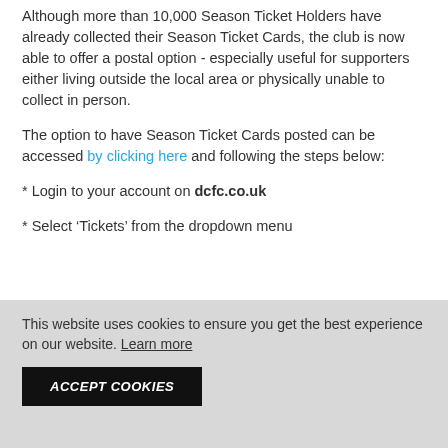Although more than 10,000 Season Ticket Holders have already collected their Season Ticket Cards, the club is now able to offer a postal option - especially useful for supporters either living outside the local area or physically unable to collect in person.
The option to have Season Ticket Cards posted can be accessed by clicking here and following the steps below:
* Login to your account on dcfc.co.uk
* Select ‘Tickets’ from the dropdown menu
This website uses cookies to ensure you get the best experience on our website. Learn more